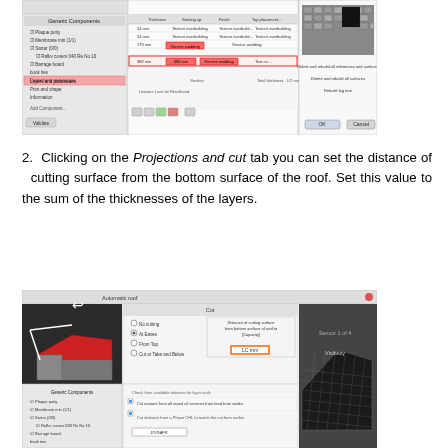[Figure (screenshot): Software dialog screenshot showing Automatic roof configuration with Layers and Components panel, layer settings table, and a preview of textured roof surface. Red highlighted row visible in the layers panel.]
2. Clicking on the Projections and cut tab you can set the distance of cutting surface from the bottom surface of the roof. Set this value to the sum of the thicknesses of the layers.
[Figure (screenshot): Software dialog screenshot showing Automatic roof configuration with Cut settings panel highlighted, a 3D red roof model on the left, and a textured roof rendering on the right. The Projections and cut tab is selected in the layer list.]